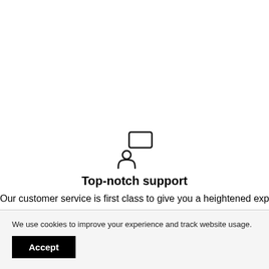[Figure (illustration): Icon of a person with a speech/chat bubble, representing customer support]
Top-notch support
Our customer service is first class to give you a heightened experience
[Figure (other): Four navigation dots, first dot filled/active, remaining three dots smaller]
We use cookies to improve your experience and track website usage.
Accept